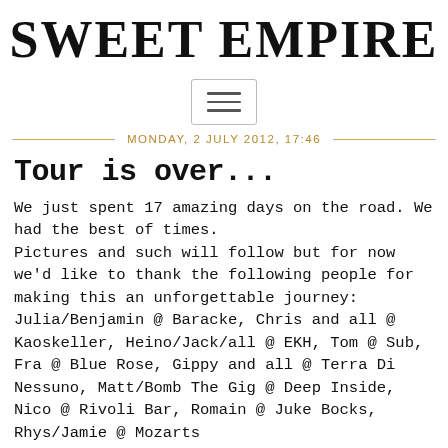SWEET EMPIRE
[Figure (other): Hamburger menu button icon with three horizontal lines inside a rounded rectangle border]
MONDAY, 2 JULY 2012, 17:46
Tour is over...
We just spent 17 amazing days on the road. We had the best of times.
Pictures and such will follow but for now we'd like to thank the following people for making this an unforgettable journey:
Julia/Benjamin @ Baracke, Chris and all @ Kaoskeller, Heino/Jack/all @ EKH, Tom @ Sub, Fra @ Blue Rose, Gippy and all @ Terra Di Nessuno, Matt/Bomb The Gig @ Deep Inside, Nico @ Rivoli Bar, Romain @ Juke Bocks, Rhys/Jamie @ Mozarts